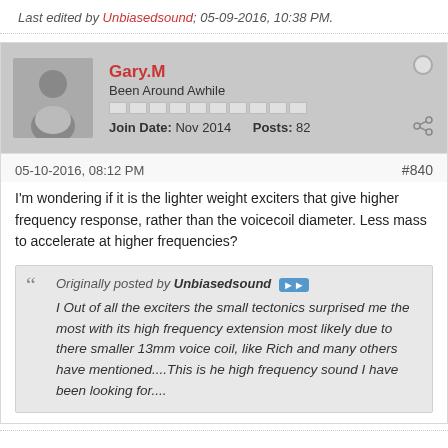Last edited by Unbiasedsound; 05-09-2016, 10:38 PM.
Gary.M
Been Around Awhile
Join Date: Nov 2014   Posts: 82
05-10-2016, 08:12 PM
#840
I'm wondering if it is the lighter weight exciters that give higher frequency response, rather than the voicecoil diameter. Less mass to accelerate at higher frequencies?
Originally posted by Unbiasedsound
I Out of all the exciters the small tectonics surprised me the most with its high frequency extension most likely due to there smaller 13mm voice coil, like Rich and many others have mentioned....This is he high frequency sound I have been looking for....